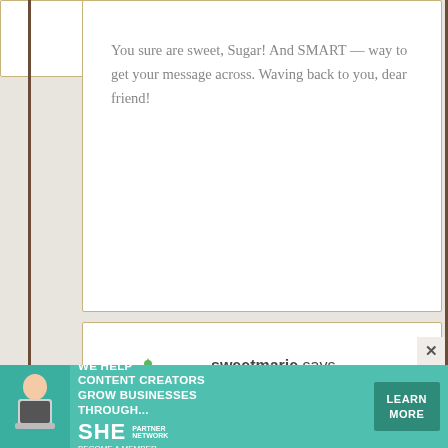You sure are sweet, Sugar! And SMART — way to get your message across. Waving back to you, dear friend!
sweetmarie says
January 9, 2014 at 12:25 AM
Get well soon, beautiful girl!
[Figure (other): Green snowflake/geometric avatar icon for user sweetmarie]
[Figure (infographic): SHE Partner Network advertisement banner: 'We help content creators grow businesses through...' with Learn More button and woman with laptop photo]